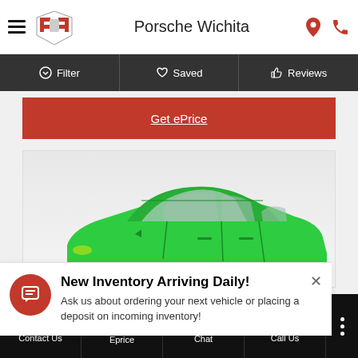Porsche Wichita
Filter | Saved | Reviews
Get ePrice
[Figure (photo): Green Porsche sports car photographed from the side, showing roof, windows and body]
New Inventory Arriving Daily! Ask us about ordering your next vehicle or placing a deposit on incoming inventory!
Contact Us | Eprice | Chat | Call Us